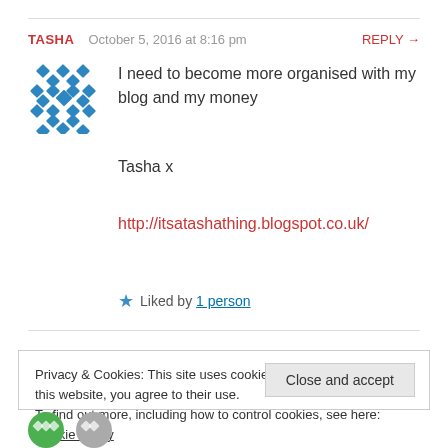TASHA   October 5, 2016 at 8:16 pm   REPLY →
[Figure (illustration): Blue decorative avatar icon made of diamond/rhombus shapes arranged in a snowflake-like pattern]
I need to become more organised with my blog and my money
Tasha x
http://itsatashathing.blogspot.co.uk/
★ Liked by 1 person
Privacy & Cookies: This site uses cookies. By continuing to use this website, you agree to their use.
To find out more, including how to control cookies, see here: Cookie Policy
Close and accept